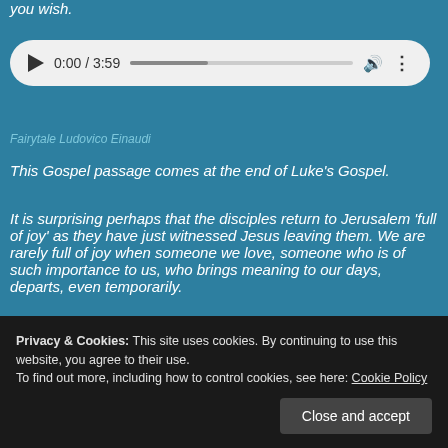you wish.
[Figure (screenshot): Audio player widget showing 0:00 / 3:59 with play button, progress bar, volume and more options icons on light gray rounded background]
Fairytale Ludovico Einaudi
This Gospel passage comes at the end of Luke's Gospel.
It is surprising perhaps that the disciples return to Jerusalem 'full of joy' as they have just witnessed Jesus leaving them. We are rarely full of joy when someone we love, someone who is of such importance to us, who brings meaning to our days, departs, even temporarily.
Privacy & Cookies: This site uses cookies. By continuing to use this website, you agree to their use. To find out more, including how to control cookies, see here: Cookie Policy